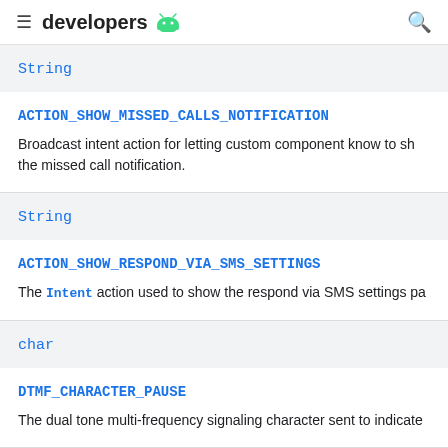developers
String
ACTION_SHOW_MISSED_CALLS_NOTIFICATION
Broadcast intent action for letting custom component know to show the missed call notification.
String
ACTION_SHOW_RESPOND_VIA_SMS_SETTINGS
The Intent action used to show the respond via SMS settings pa
char
DTMF_CHARACTER_PAUSE
The dual tone multi-frequency signaling character sent to indicate